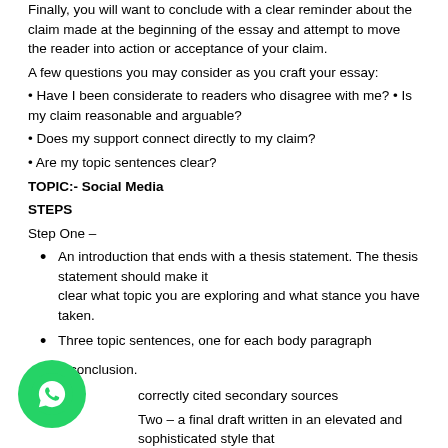Finally, you will want to conclude with a clear reminder about the claim made at the beginning of the essay and attempt to move the reader into action or acceptance of your claim.
A few questions you may consider as you craft your essay:
• Have I been considerate to readers who disagree with me? • Is my claim reasonable and arguable?
• Does my support connect directly to my claim?
• Are my topic sentences clear?
TOPIC:- Social Media
STEPS
Step One –
An introduction that ends with a thesis statement. The thesis statement should make it clear what topic you are exploring and what stance you have taken.
Three topic sentences, one for each body paragraph
A conclusion.
correctly cited secondary sources
Two – a final draft written in an elevated and sophisticated style that